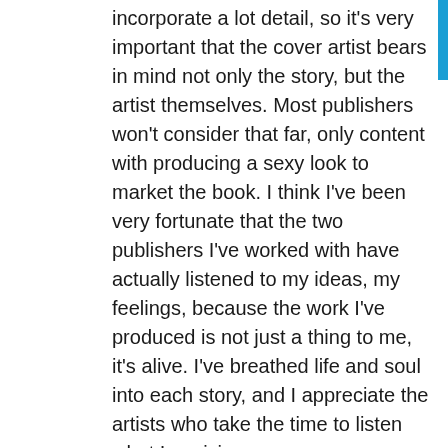incorporate a lot detail, so it's very important that the cover artist bears in mind not only the story, but the artist themselves. Most publishers won't consider that far, only content with producing a sexy look to market the book. I think I've been very fortunate that the two publishers I've worked with have actually listened to my ideas, my feelings, because the work I've produced is not just a thing to me, it's alive. I've breathed life and soul into each story, and I appreciate the artists who take the time to listen what I envision.
For my novel, Kismet, I had pictured 'green'. Toward the end of the book, when the hero, Kris, and the heroine, Evie, are declaring their love, they are locked in a passionate embrace deep in the Louisiana Bayou. So I told that vision to the artist and she came up with a truly beautiful cover.
There are certain covers that jump out at a reader